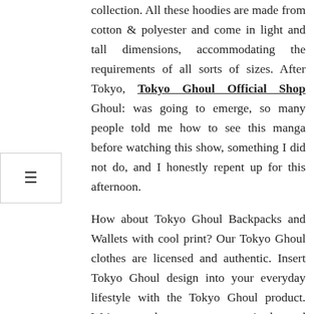collection. All these hoodies are made from cotton & polyester and come in light and tall dimensions, accommodating the requirements of all sorts of sizes. After Tokyo, Tokyo Ghoul Official Shop Ghoul: was going to emerge, so many people told me how to see this manga before watching this show, something I did not do, and I honestly repent up for this afternoon.
How about Tokyo Ghoul Backpacks and Wallets with cool print? Our Tokyo Ghoul clothes are licensed and authentic. Insert Tokyo Ghoul design into your everyday lifestyle with the Tokyo Ghoul product. We've got the very common in-demand Tokyo Ghoul tops, t-shirts, trousers, sweatshirts, most of the finest Tokyo Ghoul Apparel out of Japan. High-quality tops, picture t-shirts, lounge trousers,